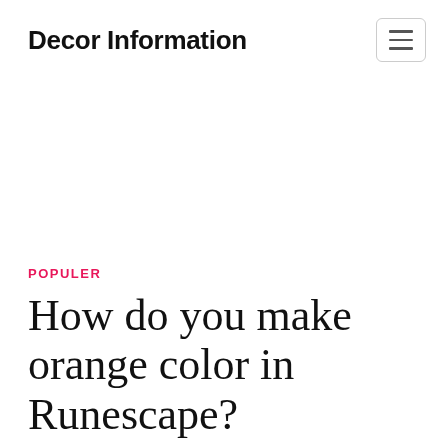Decor Information
POPULER
How do you make orange color in Runescape?